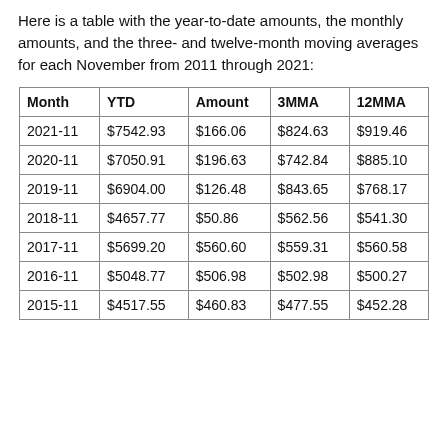Here is a table with the year-to-date amounts, the monthly amounts, and the three- and twelve-month moving averages for each November from 2011 through 2021:
| Month | YTD | Amount | 3MMA | 12MMA |
| --- | --- | --- | --- | --- |
| 2021-11 | $7542.93 | $166.06 | $824.63 | $919.46 |
| 2020-11 | $7050.91 | $196.63 | $742.84 | $885.10 |
| 2019-11 | $6904.00 | $126.48 | $843.65 | $768.17 |
| 2018-11 | $4657.77 | $50.86 | $562.56 | $541.30 |
| 2017-11 | $5699.20 | $560.60 | $559.31 | $560.58 |
| 2016-11 | $5048.77 | $506.98 | $502.98 | $500.27 |
| 2015-11 | $4517.55 | $460.83 | $477.55 | $452.28 |